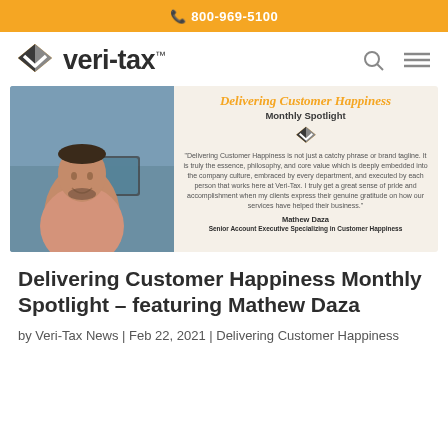📞 800-969-5100
[Figure (logo): Veri-Tax logo with orange and dark diamond/chevron icon and bold sans-serif wordmark]
[Figure (infographic): Delivering Customer Happiness Monthly Spotlight featuring Mathew Daza — photo of man at desk alongside quote card with Veri-Tax logo, quote text, name and title]
Delivering Customer Happiness Monthly Spotlight – featuring Mathew Daza
by Veri-Tax News | Feb 22, 2021 | Delivering Customer Happiness